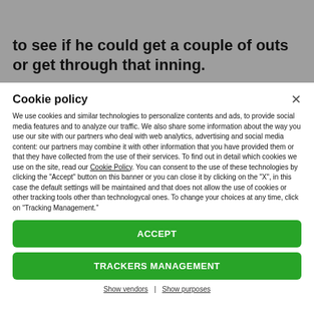to see if he could get a couple of outs or get through that inning.
Cookie policy
We use cookies and similar technologies to personalize contents and ads, to provide social media features and to analyze our traffic. We also share some information about the way you use our site with our partners who deal with web analytics, advertising and social media content: our partners may combine it with other information that you have provided them or that they have collected from the use of their services. To find out in detail which cookies we use on the site, read our Cookie Policy. You can consent to the use of these technologies by clicking the "Accept" button on this banner or you can close it by clicking on the "X", in this case the default settings will be maintained and that does not allow the use of cookies or other tracking tools other than technologycal ones. To change your choices at any time, click on “Tracking Management.”
ACCEPT
TRACKERS MANAGEMENT
Show vendors | Show purposes